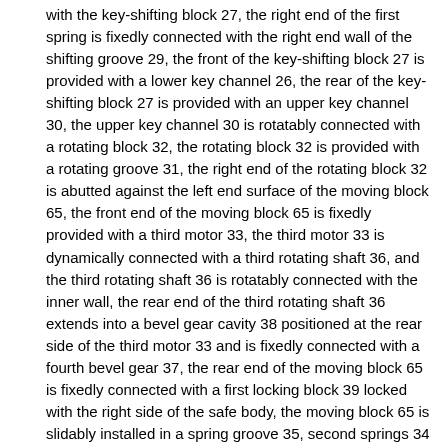with the key-shifting block 27, the right end of the first spring is fixedly connected with the right end wall of the shifting groove 29, the front of the key-shifting block 27 is provided with a lower key channel 26, the rear of the key-shifting block 27 is provided with an upper key channel 30, the upper key channel 30 is rotatably connected with a rotating block 32, the rotating block 32 is provided with a rotating groove 31, the right end of the rotating block 32 is abutted against the left end surface of the moving block 65, the front end of the moving block 65 is fixedly provided with a third motor 33, the third motor 33 is dynamically connected with a third rotating shaft 36, and the third rotating shaft 36 is rotatably connected with the inner wall, the rear end of the third rotating shaft 36 extends into a bevel gear cavity 38 positioned at the rear side of the third motor 33 and is fixedly connected with a fourth bevel gear 37, the rear end of the moving block 65 is fixedly connected with a first locking block 39 locked with the right side of the safe body, the moving block 65 is slidably installed in a spring groove 35, second springs 34 are arranged in the spring groove 35 in a front-back manner, the left end of the second spring 34 is fixedly connected with the moving block 65, the right end of the second